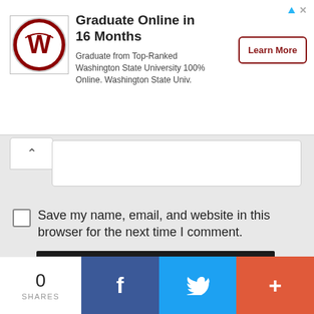[Figure (screenshot): Advertisement banner for Washington State University online graduate program. Shows WSU logo, headline 'Graduate Online in 16 Months', description text, and 'Learn More' button.]
Graduate Online in 16 Months
Graduate from Top-Ranked Washington State University 100% Online. Washington State Univ.
Save my name, email, and website in this browser for the next time I comment.
Add Comment
0
SHARES